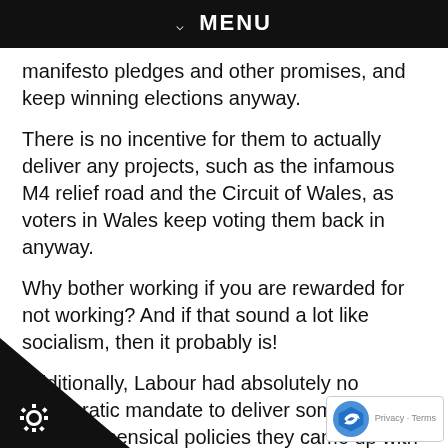MENU
manifesto pledges and other promises, and keep winning elections anyway.
There is no incentive for them to actually deliver any projects, such as the infamous M4 relief road and the Circuit of Wales, as voters in Wales keep voting them back in anyway.
Why bother working if you are rewarded for not working? And if that sound a lot like socialism, then it probably is!
Additionally, Labour had absolutely no democratic mandate to deliver some of the more nonsensical policies they came up with during the Covid era. There were too many of these to list but my least favourite were: stopping mothers buying baby clothes